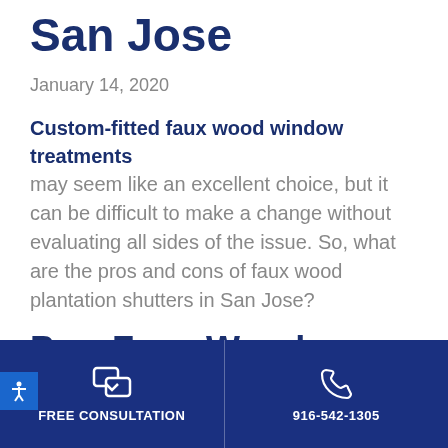San Jose
January 14, 2020
Custom-fitted faux wood window treatments may seem like an excellent choice, but it can be difficult to make a change without evaluating all sides of the issue. So, what are the pros and cons of faux wood plantation shutters in San Jose?
Pro: Faux Wood Plantation Shutters Work Well With Many Designs/Sty...
FREE CONSULTATION | 916-542-1305